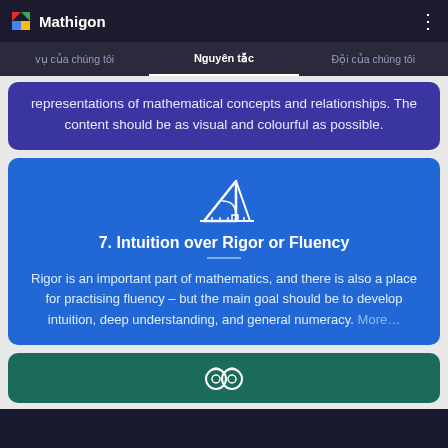Mathigon
vụ của chúng tôi | Nguyên tắc | Đội của chúng tôi
representations of mathematical concepts and relationships. The content should be as visual and colourful as possible.
[Figure (illustration): White outline icon of a geometric set square and ruler]
7. Intuition over Rigor or Fluency
Rigor is an important part of mathematics, and there is also a place for practising fluency – but the main goal should be to develop intuition, deep understanding, and general numeracy. More…
[Figure (illustration): White outline icon partially visible at bottom, teal card]